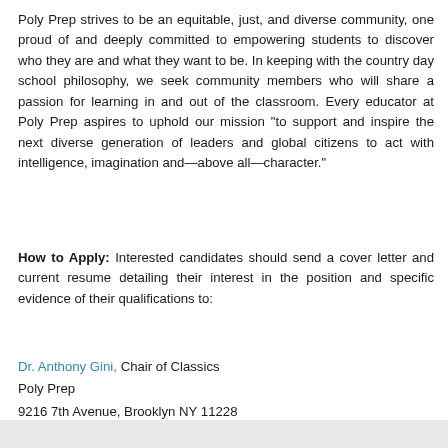Poly Prep strives to be an equitable, just, and diverse community, one proud of and deeply committed to empowering students to discover who they are and what they want to be. In keeping with the country day school philosophy, we seek community members who will share a passion for learning in and out of the classroom. Every educator at Poly Prep aspires to uphold our mission “to support and inspire the next diverse generation of leaders and global citizens to act with intelligence, imagination and—above all—character.”
How to Apply: Interested candidates should send a cover letter and current resume detailing their interest in the position and specific evidence of their qualifications to:
Dr. Anthony Gini, Chair of Classics
Poly Prep
9216 7th Avenue, Brooklyn NY 11228
718-836-9800